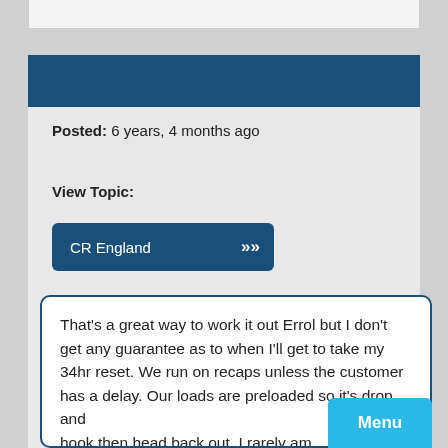Posted:  6 years, 4 months ago
View Topic:
CR England
That's a great way to work it out Errol but I don't get any guarantee as to when I'll get to take my 34hr reset. We run on recaps unless the customer has a delay. Our loads are preloaded so it's drop and hook then head back out. I rarely am
Menu